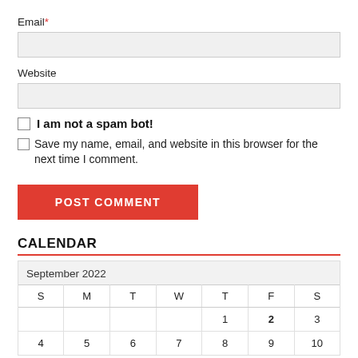Email *
Website
I am not a spam bot!
Save my name, email, and website in this browser for the next time I comment.
POST COMMENT
CALENDAR
| S | M | T | W | T | F | S |
| --- | --- | --- | --- | --- | --- | --- |
|  |  |  |  | 1 | 2 | 3 |
| 4 | 5 | 6 | 7 | 8 | 9 | 10 |